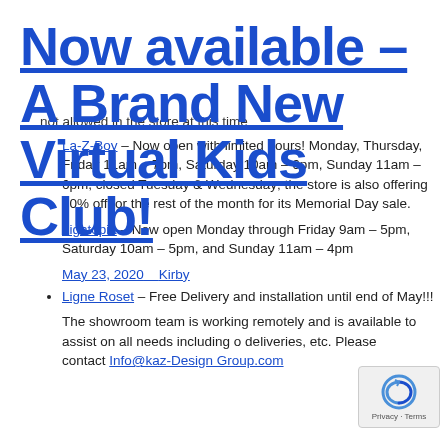Now available – A Brand New Virtual Kids Club!
not allowed in the store at this time
La-Z-Boy – Now open with limited hours! Monday, Thursday, Friday 11am – 7pm, Saturday 10am – 6pm, Sunday 11am – 6pm, closed Tuesday & Wednesday; the store is also offering 30% off for the rest of the month for its Memorial Day sale.
Lightopia – Now open Monday through Friday 9am – 5pm, Saturday 10am – 5pm, and Sunday 11am – 4pm
May 23, 2020    Kirby
Ligne Roset – Free Delivery and installation until end of May!!!
The showroom team is working remotely and is available to assist on all needs including orders, deliveries, etc. Please contact Info@kaz-Design Group.com